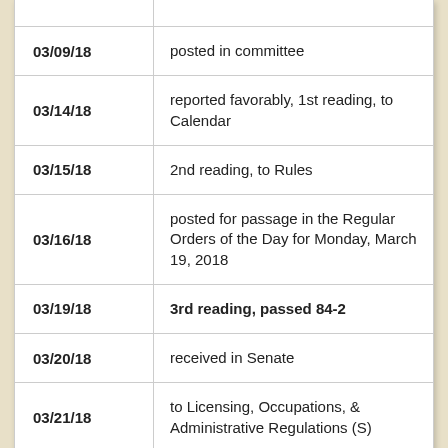| Date | Action |
| --- | --- |
|  |  |
| 03/09/18 | posted in committee |
| 03/14/18 | reported favorably, 1st reading, to Calendar |
| 03/15/18 | 2nd reading, to Rules |
| 03/16/18 | posted for passage in the Regular Orders of the Day for Monday, March 19, 2018 |
| 03/19/18 | 3rd reading, passed 84-2 |
| 03/20/18 | received in Senate |
| 03/21/18 | to Licensing, Occupations, & Administrative Regulations (S) |